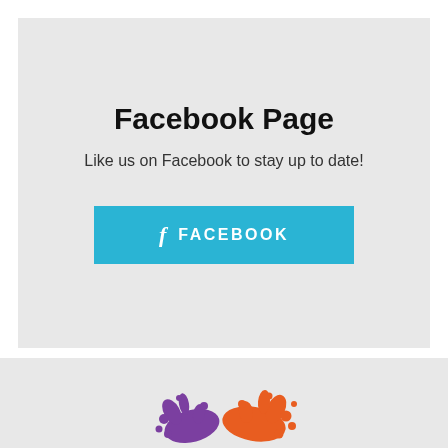Facebook Page
Like us on Facebook to stay up to date!
[Figure (screenshot): Cyan/teal button with Facebook f icon and text FACEBOOK]
[Figure (logo): Colorful paint splash logo with purple and orange ink splashes at the bottom of the page]